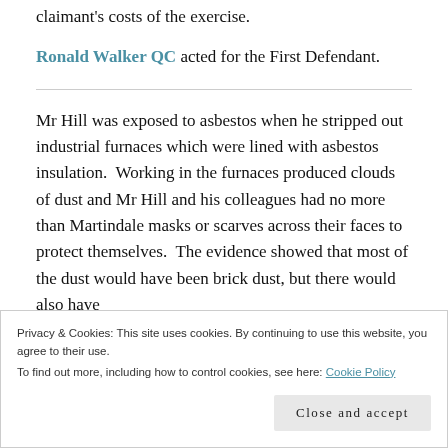claimant's costs of the exercise.
Ronald Walker QC acted for the First Defendant.
Mr Hill was exposed to asbestos when he stripped out industrial furnaces which were lined with asbestos insulation.  Working in the furnaces produced clouds of dust and Mr Hill and his colleagues had no more than Martindale masks or scarves across their faces to protect themselves.  The evidence showed that most of the dust would have been brick dust, but there would also have
Privacy & Cookies: This site uses cookies. By continuing to use this website, you agree to their use.
To find out more, including how to control cookies, see here: Cookie Policy
Close and accept